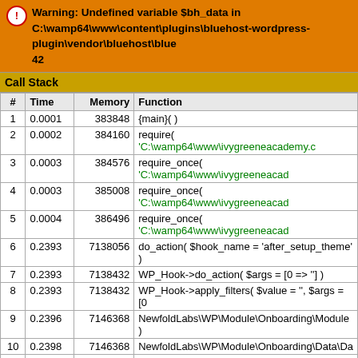Warning: Undefined variable $bh_data in C:\wamp64\www\content\plugins\bluehost-wordpress-plugin\vendor\bluehost\blue 42
Call Stack
| # | Time | Memory | Function |
| --- | --- | --- | --- |
| 1 | 0.0001 | 383848 | {main}( ) |
| 2 | 0.0002 | 384160 | require( 'C:\wamp64\www\ivygreeneacademy.c…' ) |
| 3 | 0.0003 | 384576 | require_once( 'C:\wamp64\www\ivygreeneacad…' ) |
| 4 | 0.0003 | 385008 | require_once( 'C:\wamp64\www\ivygreeneacad…' ) |
| 5 | 0.0004 | 386496 | require_once( 'C:\wamp64\www\ivygreeneacad…' ) |
| 6 | 0.2393 | 7138056 | do_action( $hook_name = 'after_setup_theme' ) |
| 7 | 0.2393 | 7138432 | WP_Hook->do_action( $args = [0 => ''] ) |
| 8 | 0.2393 | 7138432 | WP_Hook->apply_filters( $value = '', $args = [0… |
| 9 | 0.2396 | 7146368 | NewfoldLabs\WP\Module\Onboarding\Module… ) |
| 10 | 0.2398 | 7146368 | NewfoldLabs\WP\Module\Onboarding\Data\Da… |
| 11 | 0.2399 | 7146368 | Bluehost\WP\Data\Customer::collect( ) |
Fatal error: Uncaught TypeError: array_key_exists(): Arg…